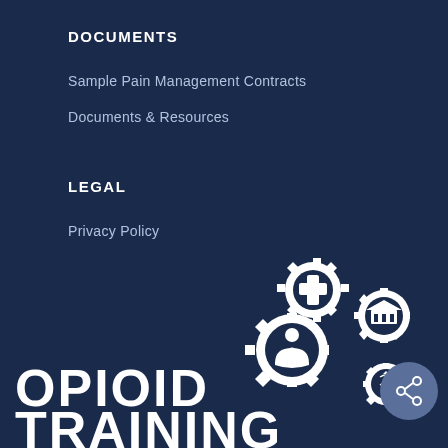DOCUMENTS
Sample Pain Management Contracts
Documents & Resources
LEGAL
Privacy Policy
[Figure (logo): Opioid Training Institute logo with three interlocking gears containing medical cross, courthouse/institution icon, person/human icon, and caduceus icon, with bold text OPIOID TRAINING INSTITUTE below]
[Figure (other): Share button - circular dark blue button with share/network icon]